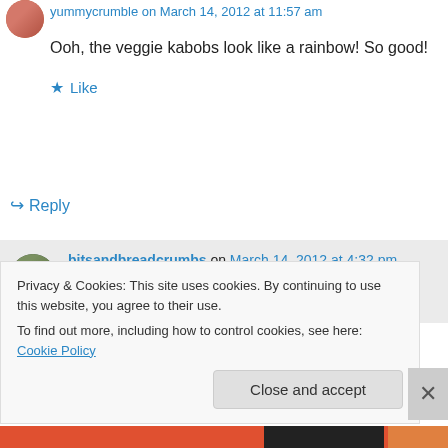yummycrumble on March 14, 2012 at 11:57 am
Ooh, the veggie kabobs look like a rainbow! So good!
Like
↪ Reply
bitsandbreadcrumbs on March 14, 2012 at 4:32 pm
Thanks yummy, I thought so, too and that
Privacy & Cookies: This site uses cookies. By continuing to use this website, you agree to their use.
To find out more, including how to control cookies, see here: Cookie Policy
Close and accept